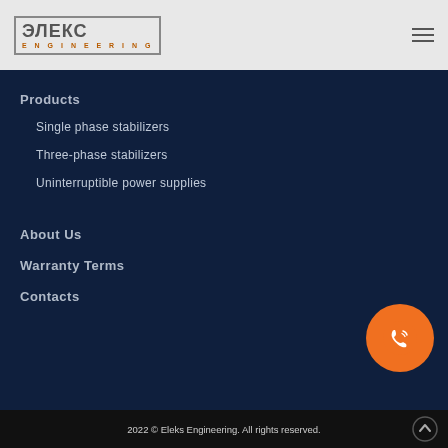[Figure (logo): ЭЛЕКС Engineering logo with Cyrillic text in a bordered box]
Products
Single phase stabilizers
Three-phase stabilizers
Uninterruptible power supplies
About Us
Warranty Terms
Contacts
2022 © Eleks Engineering. All rights reserved.